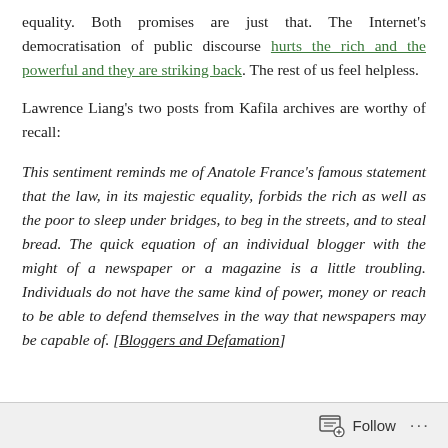equality. Both promises are just that. The Internet's democratisation of public discourse hurts the rich and the powerful and they are striking back. The rest of us feel helpless.
Lawrence Liang's two posts from Kafila archives are worthy of recall:
This sentiment reminds me of Anatole France's famous statement that the law, in its majestic equality, forbids the rich as well as the poor to sleep under bridges, to beg in the streets, and to steal bread. The quick equation of an individual blogger with the might of a newspaper or a magazine is a little troubling. Individuals do not have the same kind of power, money or reach to be able to defend themselves in the way that newspapers may be capable of. [Bloggers and Defamation]
Follow ...